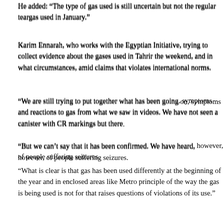He added: “The type of gas used is still uncertain but not the regular teargas used in January.”
Karim Ennarah, who works with the Egyptian Initiative, trying to collect evidence about the gases used in Tahrir the weekend, and in what circumstances, amid claims that violates international norms.
“We are still trying to put together what has been going on, symptoms and reactions to gas from what we saw in videos. We have not seen a canister with CR markings but there…
“But we can’t say that it has been confirmed. We have heard, however, of people suffering seizures.
“What is clear is that gas has been used differently at the beginning of the year and in enclosed areas like Metro stations. The principle of the way the gas is being used is not for crowd dispersal and that raises questions of violations of its use.”
Although British companies manufacture and export CR gas – including CR – a check of UK arms licences suggests no licences for Egypt had been issued since before 1999.